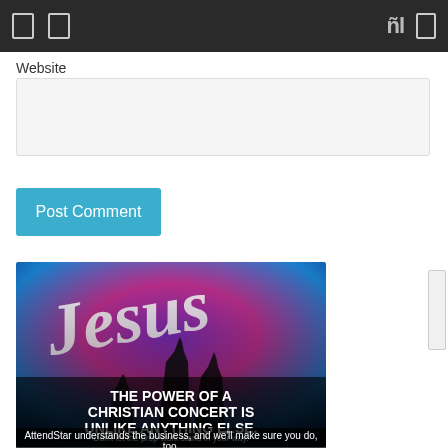Website
Post Comment
[Figure (photo): Christian concert advertisement showing silhouettes of raised hands against a colorful purple and blue background with the word 'Jesus' in white script. Text overlay reads: THE POWER OF A CHRISTIAN CONCERT IS UNLIKE ANYTHING ELSE. Don't let the prep work stand in your way. AttendStar understands the business, and we'll make sure you do, too.]